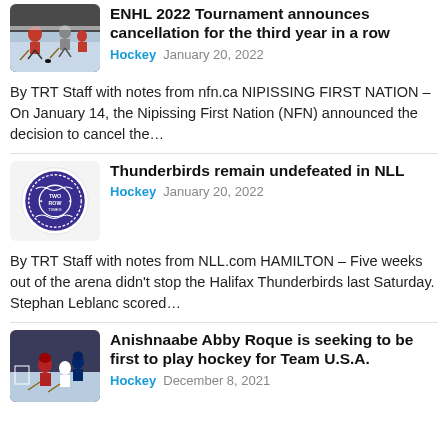ENHL 2022 Tournament announces cancellation for the third year in a row
Hockey   January 20, 2022
By TRT Staff with notes from nfn.ca NIPISSING FIRST NATION – On January 14, the Nipissing First Nation (NFN) announced the decision to cancel the…
Thunderbirds remain undefeated in NLL
Hockey   January 20, 2022
By TRT Staff with notes from NLL.com HAMILTON – Five weeks out of the arena didn't stop the Halifax Thunderbirds last Saturday. Stephan Leblanc scored…
Anishnaabe Abby Roque is seeking to be first to play hockey for Team U.S.A.
Hockey   December 8, 2021